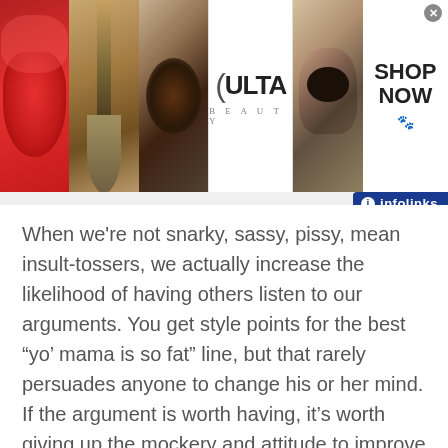[Figure (screenshot): Top banner advertisement for Ulta Beauty showing makeup images (red lips, makeup brush, eye with dark eyeshadow), Ulta Beauty logo in center, and 'SHOP NOW' call to action on right]
[Figure (logo): Infolinks badge in blue with white text 'infolinks']
When we're not snarky, sassy, pissy, mean insult-tossers, we actually increase the likelihood of having others listen to our arguments.  You get style points for the best “yo’ mama is so fat” line, but that rarely persuades anyone to change his or her mind.  If the argument is worth having, it’s worth giving up the mockery and attitude to improve the dialog.
[Figure (logo): Infolinks badge in blue with white text 'infolinks' on left side]
s, it’s nice.  You know what I mean?  It
[Figure (screenshot): Bottom advertisement for BELK showing book/clothing images on left, BELK brand name, 'Denim all day.' tagline, www.belk.com URL, and blue circular arrow button on right. Close button in top right corner.]